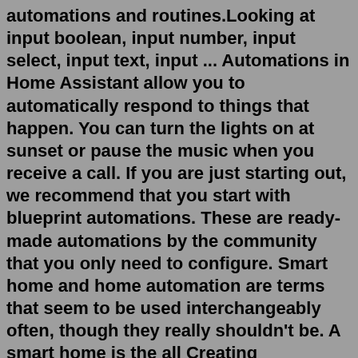automations and routines.Looking at input boolean, input number, input select, input text, input ... Automations in Home Assistant allow you to automatically respond to things that happen. You can turn the lights on at sunset or pause the music when you receive a call. If you are just starting out, we recommend that you start with blueprint automations. These are ready-made automations by the community that you only need to configure. Smart home and home automation are terms that seem to be used interchangeably often, though they really shouldn't be. A smart home is the all Creating automations in Home Assistant is mostly a straightforward process. There are two different ways to select an entity or device depending on how it...Automations in Home Assistant allow you to automatically respond to things that happen. You can turn the lights on at sunset or pause the music when you receive a call. If you are just starting out, we recommend that you start with blueprint automations. These are ready-made automations by